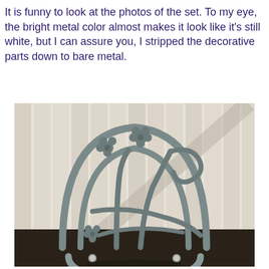It is funny to look at the photos of the set. To my eye, the bright metal color almost makes it look like it's still white, but I can assure you, I stripped the decorative parts down to bare metal.
[Figure (photo): Top-down view of a decorative metal chair back (wrought iron style) with floral/scroll designs, stripped to bare grey metal, placed on dark ground against white wooden fence boards.]